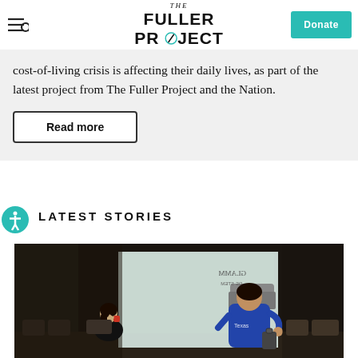THE FULLER PROJECT | Donate
cost-of-living crisis is affecting their daily lives, as part of the latest project from The Fuller Project and the Nation.
Read more
LATEST STORIES
[Figure (photo): Two women in a waiting room area, one seated and one standing near glass doors, interior scene with chairs]